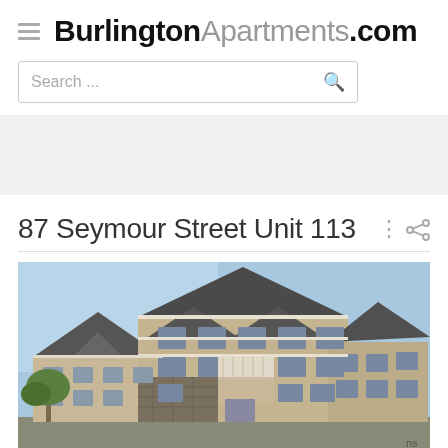BurlingtonApartments.com
Search ...
87 Seymour Street Unit 113
[Figure (photo): Exterior photo of a multi-story apartment building with beige/tan siding, stone accents, balconies, and multiple peaked rooflines against a blue sky with trees visible.]